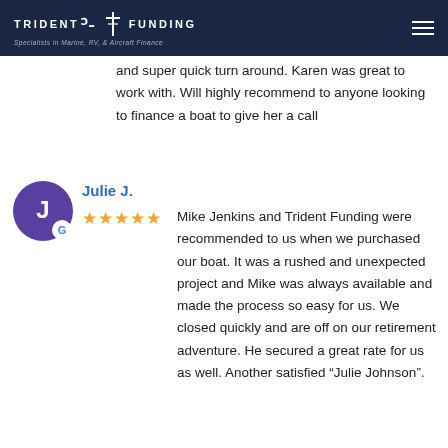Trident Funding — Specialists in Marine, RV, & Aircraft Finance
and super quick turn around. Karen was great to work with. Will highly recommend to anyone looking to finance a boat to give her a call
Julie J.
★★★★★ Mike Jenkins and Trident Funding were recommended to us when we purchased our boat. It was a rushed and unexpected project and Mike was always available and made the process so easy for us. We closed quickly and are off on our retirement adventure. He secured a great rate for us as well. Another satisfied "Julie Johnson".
Mary S.